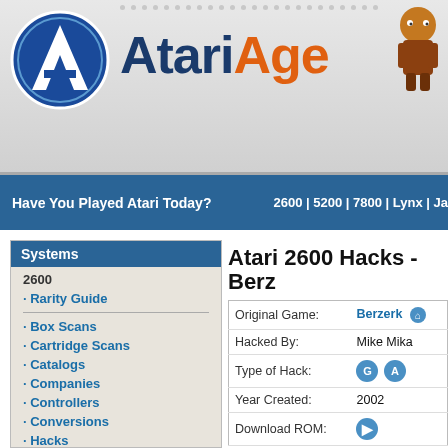AtariAge
Have You Played Atari Today?
2600 | 5200 | 7800 | Lynx | Ja
Systems
2600
Rarity Guide
Box Scans
Cartridge Scans
Catalogs
Companies
Controllers
Conversions
Hacks
Hardware
Label Guide
Manuals
Overlays
Programmers
Reviews
Screenshots
Tips & Cheats
Forum
Atari 2600 Hacks - Berz
| Field | Value |
| --- | --- |
| Original Game: | Berzerk |
| Hacked By: | Mike Mika |
| Type of Hack: | G A |
| Year Created: | 2002 |
| Download ROM: |  |
Description
Berzerk Voice Enhanced is an impressive hack o... Berzerk VE has, by far, the most speech of any A... "Chicken, Fight Like A Robot", and "Humanoid M... original Arcade color scheme and reworked the a... high-quality label and manual for Berzerk VE, wh...